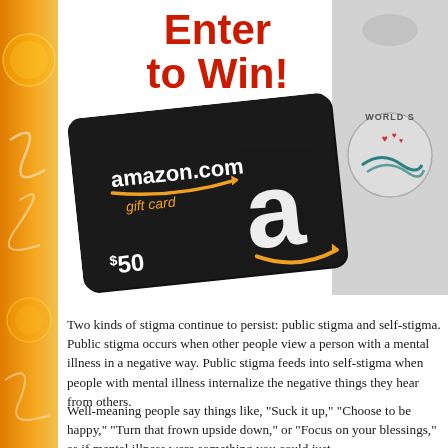Enter to Win!
[Figure (photo): Amazon.com gift card (black card with white 'a' logo and orange smile arrow) showing $50 value]
[Figure (photo): Gray t-shirt with 'World S...' circular logo featuring hearts and nature design]
Two kinds of stigma continue to persist: public stigma and self-stigma. Public stigma occurs when other people view a person with a mental illness in a negative way. Public stigma feeds into self-stigma when people with mental illness internalize the negative things they hear from others.
Well-meaning people say things like, "Suck it up," "Choose to be happy," "Turn that frown upside down," or "Focus on your blessings," as if mental illness were something you could just choose to overcome.